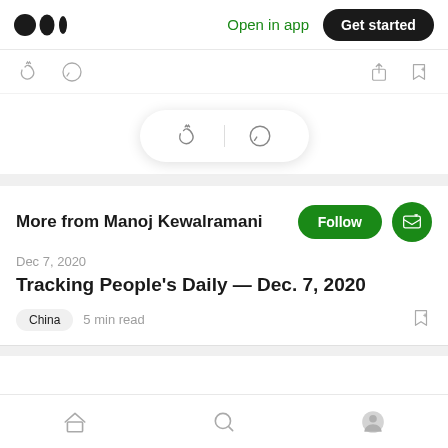Medium logo | Open in app | Get started
[Figure (screenshot): Medium app top navigation bar with logo, Open in app link, and Get started button]
[Figure (infographic): Floating action pill with clap and comment icons]
More from Manoj Kewalramani
Dec 7, 2020
Tracking People's Daily — Dec. 7, 2020
China  5 min read
Home | Search | Profile